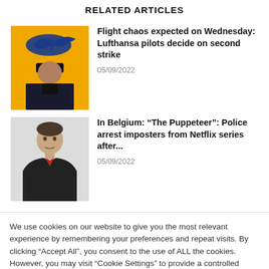RELATED ARTICLES
[Figure (photo): Lufthansa pilot in uniform with Lufthansa crane logo on yellow background]
Flight chaos expected on Wednesday: Lufthansa pilots decide on second strike
05/09/2022
[Figure (photo): Man in dark jacket, headshot photo on light background]
In Belgium: “The Puppeteer”: Police arrest imposters from Netflix series after...
05/09/2022
We use cookies on our website to give you the most relevant experience by remembering your preferences and repeat visits. By clicking “Accept All”, you consent to the use of ALL the cookies. However, you may visit “Cookie Settings” to provide a controlled consent.